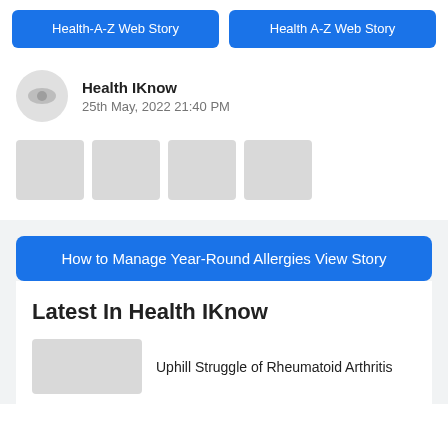[Figure (screenshot): Two blue buttons side by side: 'Health-A-Z Web Story' and 'Health A-Z Web Story']
Health IKnow
25th May, 2022 21:40 PM
[Figure (screenshot): Four gray thumbnail placeholder squares in a row]
[Figure (screenshot): Blue button: 'How to Manage Year-Round Allergies View Story']
Latest In Health IKnow
Uphill Struggle of Rheumatoid Arthritis